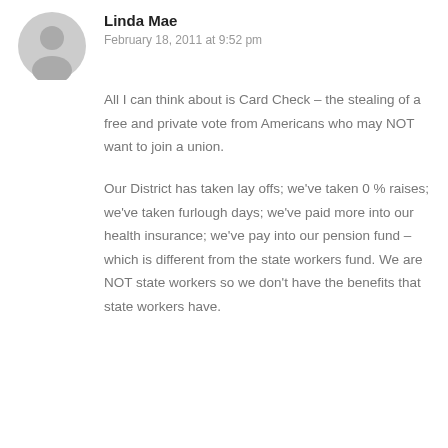[Figure (illustration): Gray circular avatar icon with a generic person silhouette]
Linda Mae
February 18, 2011 at 9:52 pm
All I can think about is Card Check – the stealing of a free and private vote from Americans who may NOT want to join a union.
Our District has taken lay offs; we've taken 0% raises; we've taken furlough days; we've paid more into our health insurance; we've pay into our pension fund – which is different from the state workers fund.  We are NOT state workers so we don't have the benefits that state workers have.